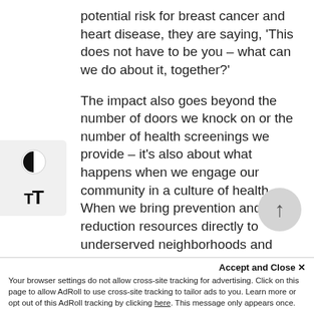potential risk for breast cancer and heart disease, they are saying, 'This does not have to be you – what can we do about it, together?'
The impact also goes beyond the number of doors we knock on or the number of health screenings we provide – it's also about what happens when we engage our community in a culture of health. When we bring prevention and risk reduction resources directly to underserved neighborhoods and seek out hundreds of women to be screened, it becomes personal. Every time we knock on a door, we're also saying, 'We
care about you, your goals, and the
Accept and Close ×
Your browser settings do not allow cross-site tracking for advertising. Click on this page to allow AdRoll to use cross-site tracking to tailor ads to you. Learn more or opt out of this AdRoll tracking by clicking here. This message only appears once.